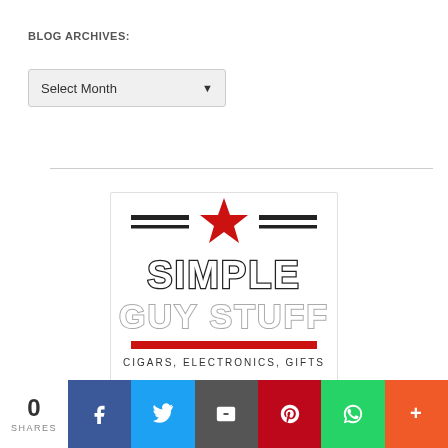BLOG ARCHIVES:
Select Month
[Figure (logo): Simple Guy Stuff logo with red star, horizontal lines, bold text SIMPLE GUY STUFF, red bar, and text CIGARS, ELECTRONICS, GIFTS]
0 SHARES | Facebook | Twitter | Email | Pinterest | WhatsApp | More